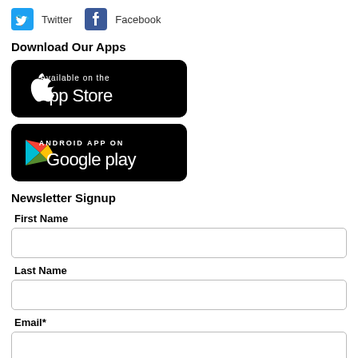[Figure (logo): Twitter and Facebook social media buttons with icons]
Download Our Apps
[Figure (logo): App Store download button - Available on the App Store]
[Figure (logo): Google Play download button - Android App on Google play]
Newsletter Signup
First Name
Last Name
Email*